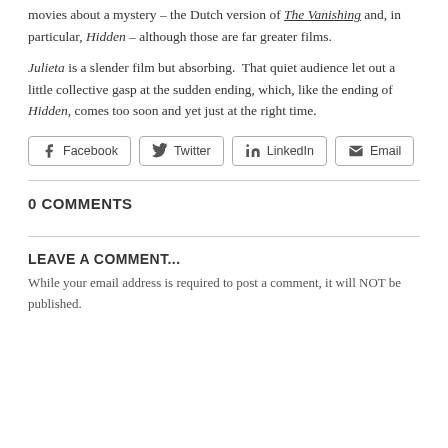movies about a mystery – the Dutch version of The Vanishing and, in particular, Hidden – although those are far greater films.
Julieta is a slender film but absorbing.  That quiet audience let out a little collective gasp at the sudden ending, which, like the ending of Hidden, comes too soon and yet just at the right time.
[Figure (other): Social share buttons: Facebook, Twitter, LinkedIn, Email]
0 COMMENTS
LEAVE A COMMENT...
While your email address is required to post a comment, it will NOT be published.